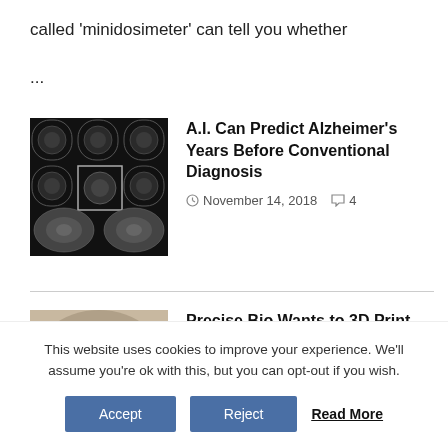called 'minidosimeter' can tell you whether
...
[Figure (photo): Black and white brain MRI scan images arranged in a grid]
A.I. Can Predict Alzheimer's Years Before Conventional Diagnosis
November 14, 2018  4
[Figure (photo): Close-up photo of a blue human eye]
Precise Bio Wants to 3D Print You Some New Corneas
November 13, 2018  0
This website uses cookies to improve your experience. We'll assume you're ok with this, but you can opt-out if you wish.